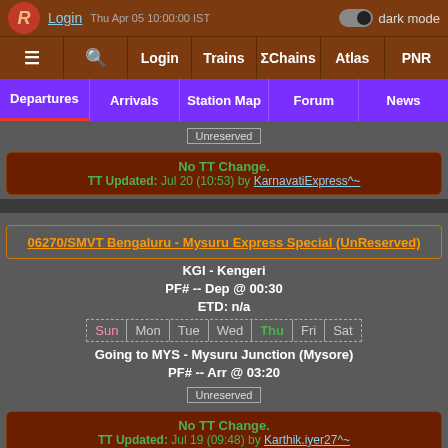Login | dark mode toggle
≡ 🔍 Login Trains ΣChains Atlas PNR
Departures | Arrivals | Station Map | Forum | News
Unreserved
No TT Change. TT Updated: Jul 20 (10:53) by KarnavatiExpress^~
06270/SMVT Bengaluru - Mysuru Express Special (UnReserved)
KGI - Kengeri
PF# -- Dep @ 00:30
ETD: n/a
Sun Mon Tue Wed Thu Fri Sat
Going to MYS - Mysuru Junction (Mysore)
PF# -- Arr @ 03:20
Unreserved
No TT Change. TT Updated: Jul 19 (09:48) by Karthik.iyer27^~